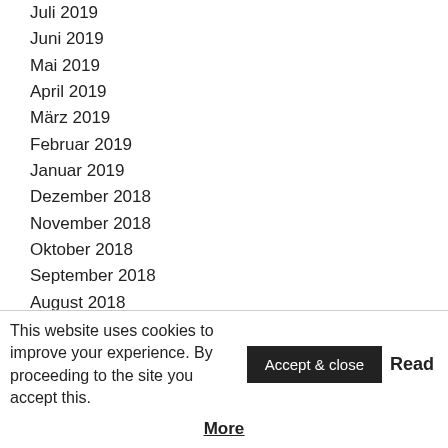Juli 2019
Juni 2019
Mai 2019
April 2019
März 2019
Februar 2019
Januar 2019
Dezember 2018
November 2018
Oktober 2018
September 2018
August 2018
Juli 2018
Juni 2018
This website uses cookies to improve your experience. By proceeding to the site you accept this. Accept & close Read More